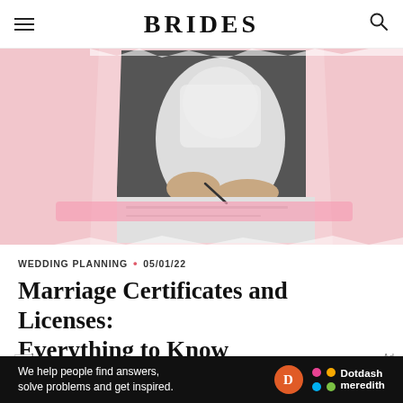BRIDES
[Figure (photo): Black and white photo of a bride in a lace wedding dress signing a document, placed on a pink pastel background with a decorative cut-out style]
WEDDING PLANNING • 05/01/22
Marriage Certificates and Licenses: Everything to Know
[Figure (other): Broken image icon with label 'avg_age']
We help people find answers, solve problems and get inspired. Dotdash meredith